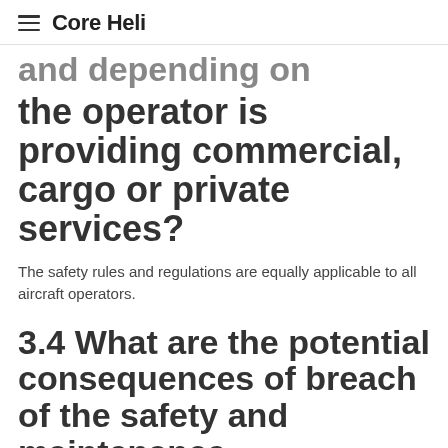Core Heli
and depending on whether the operator is providing commercial, cargo or private services?
The safety rules and regulations are equally applicable to all aircraft operators.
3.4 What are the potential consequences of breach of the safety and maintenance requirements?
Any violation of the safety and maintenance